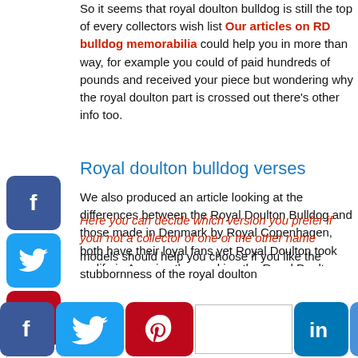So it seems that royal doulton bulldog is still the top of every collectors wish list Our articles on RD bulldog memorabilia could help you in more than way, for example you could of paid hundreds of pounds and received your piece but wondering why the royal doulton part is crossed out there's other info too.
Royal doulton bulldog verses
We also produced an article looking at the differences between the Royal Doulton Bulldog and those made in Denmark by Royal Copenhagen, both have their loyal fans yet Royal Doulton took up life in America thus making the Royal Doulton collecting even bigger where as royal Copenhagen pieces only started getting to collectors properly when the internet started.
Here you can decide which version you prefer if your not a collector of one or the other name models should help you choose if you like the stubbornness of the royal doulton